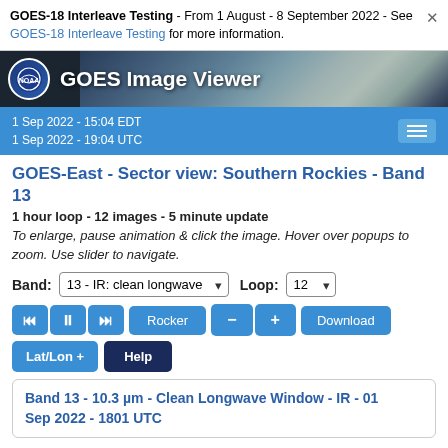GOES-18 Interleave Testing - From 1 August - 8 September 2022 - See GOES-18 Interleave Testing for more information.
[Figure (screenshot): GOES Image Viewer header banner with NOAA logo and satellite/earth background image]
1 Sep 2022 - 15:04 EDT
1 Sep 2022 - 19:04 UTC
GOES-East - Sector view: Southern Rockies - Band 13
1 hour loop - 12 images - 5 minute update
To enlarge, pause animation & click the image. Hover over popups to zoom. Use slider to navigate.
Band: 13 - IR: clean longwave  Loop: 12
Playback controls: previous, pause, next, Rocker, -, +, Download
Lat/Lon + Help
Band 13 - 10.3 µm - Clean Longwave Window - IR - 01 Sep 2022 - 1801 UTC